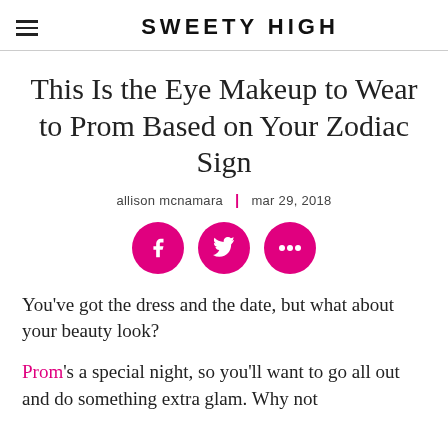SWEETY HIGH
This Is the Eye Makeup to Wear to Prom Based on Your Zodiac Sign
allison mcnamara | mar 29, 2018
[Figure (infographic): Three pink circular social media icon buttons: Facebook (f), Twitter (bird), and more/share (three dots)]
You've got the dress and the date, but what about your beauty look?
Prom's a special night, so you'll want to go all out and do something extra glam. Why not